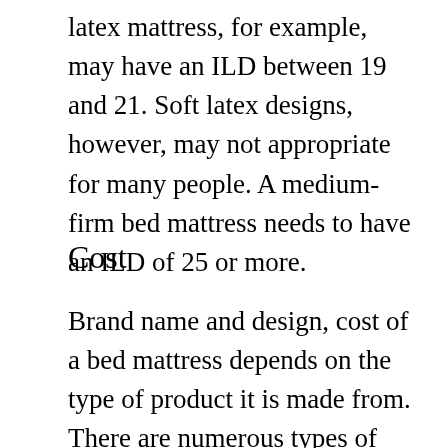latex mattress, for example, may have an ILD between 19 and 21. Soft latex designs, however, may not appropriate for many people. A medium-firm bed mattress needs to have an ILD of 25 or more.
Cost
Brand name and design, cost of a bed mattress depends on the type of product it is made from. There are numerous types of bed mattress consisting of foam, latex and hybrid. Rate ranges of various types vary from one another. You can get a lower